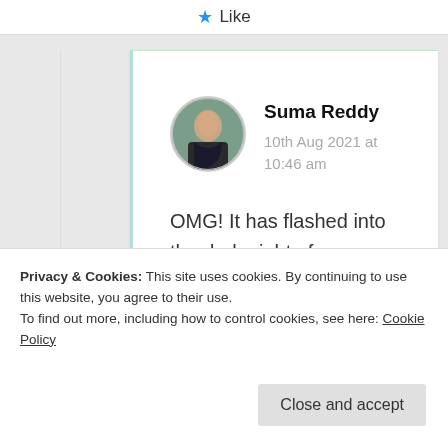★ Like
Suma Reddy
10th Aug 2021 at 10:46 am
OMG! It has flashed into the dark night of my heart more brighter than the fire fly's blinking
Privacy & Cookies: This site uses cookies. By continuing to use this website, you agree to their use.
To find out more, including how to control cookies, see here: Cookie Policy
Close and accept